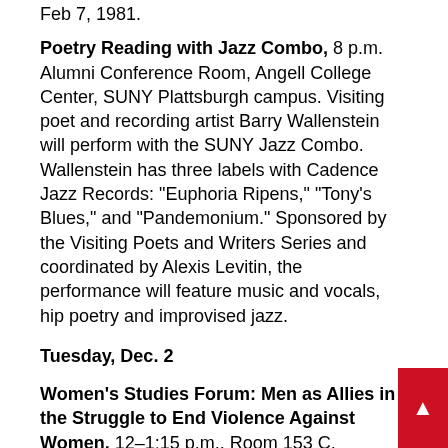Feb 7, 1981.
Poetry Reading with Jazz Combo, 8 p.m. Alumni Conference Room, Angell College Center, SUNY Plattsburgh campus. Visiting poet and recording artist Barry Wallenstein will perform with the SUNY Jazz Combo. Wallenstein has three labels with Cadence Jazz Records: "Euphoria Ripens," "Tony's Blues," and "Pandemonium." Sponsored by the Visiting Poets and Writers Series and coordinated by Alexis Levitin, the performance will feature music and vocals, hip poetry and improvised jazz.
Tuesday, Dec. 2
Women's Studies Forum: Men as Allies in the Struggle to End Violence Against Women, 12–1:15 p.m., Room 153 C, Hawkins Hall, SUNY Plattsburgh campus. For information, contact D...